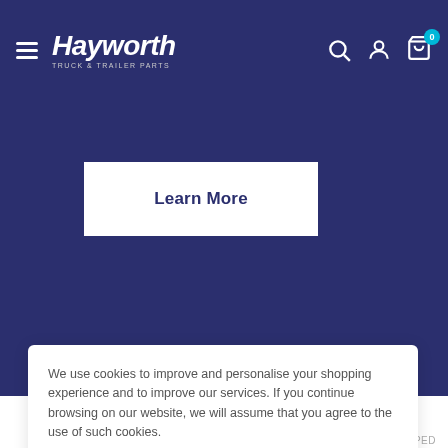[Figure (screenshot): Hayworth Truck & Trailer Parts website navigation bar with hamburger menu, logo, search icon, account icon, and cart icon with badge showing 0]
[Figure (screenshot): Dark navy blue hero banner section with a white 'Learn More' button and an orange strip on the right]
We use cookies to improve and personalise your shopping experience and to improve our services. If you continue browsing on our website, we will assume that you agree to the use of such cookies.
Accept
Powered by STAMPED